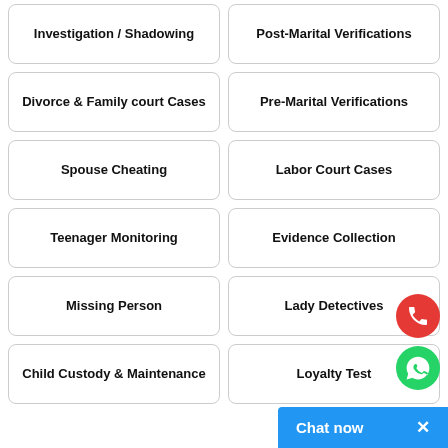Investigation / Shadowing
Post-Marital Verifications
Divorce & Family court Cases
Pre-Marital Verifications
Spouse Cheating
Labor Court Cases
Teenager Monitoring
Evidence Collection
Missing Person
Lady Detectives
Child Custody & Maintenance
Loyalty Test
Chat now